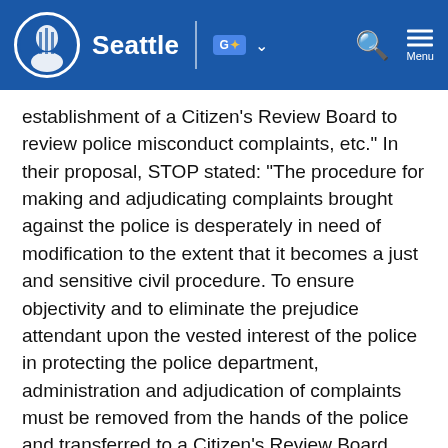Seattle
establishment of a Citizen's Review Board to review police misconduct complaints, etc." In their proposal, STOP stated: "The procedure for making and adjudicating complaints brought against the police is desperately in need of modification to the extent that it becomes a just and sensitive civil procedure. To ensure objectivity and to eliminate the prejudice attendant upon the vested interest of the police in protecting the police department, administration and adjudication of complaints must be removed from the hands of the police and transferred to a Citizen's Review Board... Today's City government needs to represent and protect the human, social, economic and cultural interests of all its citizens equally if it is to ensure justice for the future." STOP began circulating their petition on September 12, 1973, in response to multiple reports of police brutality;